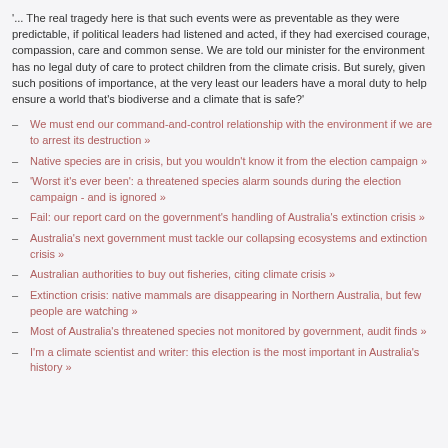'... The real tragedy here is that such events were as preventable as they were predictable, if political leaders had listened and acted, if they had exercised courage, compassion, care and common sense. We are told our minister for the environment has no legal duty of care to protect children from the climate crisis. But surely, given such positions of importance, at the very least our leaders have a moral duty to help ensure a world that's biodiverse and a climate that is safe?'
We must end our command-and-control relationship with the environment if we are to arrest its destruction »
Native species are in crisis, but you wouldn't know it from the election campaign »
'Worst it's ever been': a threatened species alarm sounds during the election campaign - and is ignored »
Fail: our report card on the government's handling of Australia's extinction crisis »
Australia's next government must tackle our collapsing ecosystems and extinction crisis »
Australian authorities to buy out fisheries, citing climate crisis »
Extinction crisis: native mammals are disappearing in Northern Australia, but few people are watching »
Most of Australia's threatened species not monitored by government, audit finds »
I'm a climate scientist and writer: this election is the most important in Australia's history »